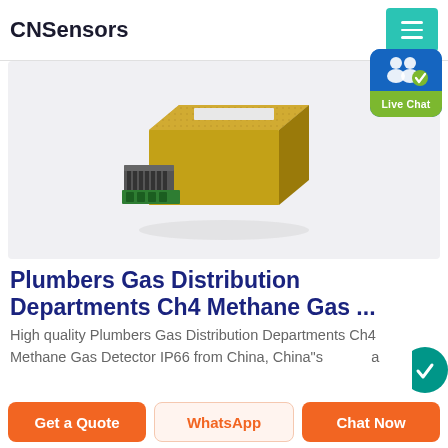CNSensors
[Figure (photo): Gold-colored methane gas sensor module with green PCB connector, photographed on white background]
[Figure (infographic): Live Chat badge with blue background showing person/chat icon and green 'Live Chat' label with close X button]
Plumbers Gas Distribution Departments Ch4 Methane Gas ...
High quality Plumbers Gas Distribution Departments Ch4 Methane Gas Detector IP66 from China, China"s leading a
Get a Quote  WhatsApp  Chat Now